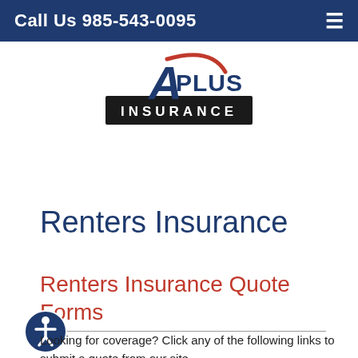Call Us 985-543-0095
[Figure (logo): A Plus Insurance logo with red swoosh and dark banner reading INSURANCE]
Renters Insurance
Renters Insurance Quote Forms
Looking for coverage? Click any of the following links to submit a quote from our site.